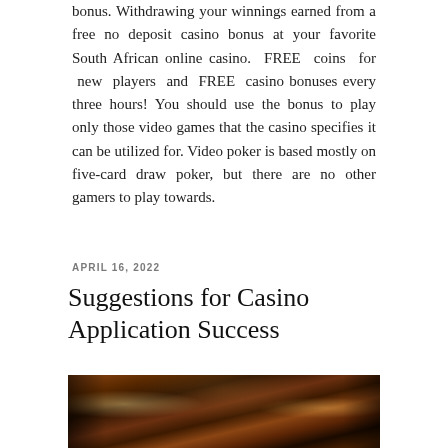bonus. Withdrawing your winnings earned from a free no deposit casino bonus at your favorite South African online casino. FREE coins for new players and FREE casino bonuses every three hours! You should use the bonus to play only those video games that the casino specifies it can be utilized for. Video poker is based mostly on five-card draw poker, but there are no other gamers to play towards.
APRIL 16, 2022
Suggestions for Casino Application Success
[Figure (photo): Interior of a casino showing slot machines, gaming tables with red carpet, warm wood paneling on walls, table lamps, and gaming equipment in a dimly lit amber-toned room.]